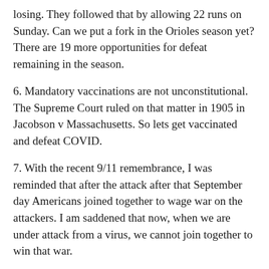losing. They followed that by allowing 22 runs on Sunday. Can we put a fork in the Orioles season yet? There are 19 more opportunities for defeat remaining in the season.
6. Mandatory vaccinations are not unconstitutional. The Supreme Court ruled on that matter in 1905 in Jacobson v Massachusetts. So lets get vaccinated and defeat COVID.
7. With the recent 9/11 remembrance, I was reminded that after the attack after that September day Americans joined together to wage war on the attackers. I am saddened that now, when we are under attack from a virus, we cannot join together to win that war.
8. Today in History. September 13, 1993. After decades of bloody animosity, representatives of Israel and Palestine meet on the South Lawn of the White House and sign a framework for peace. The “Declaration of Principles” was the first agreement between the Israelis and Palestinians towards ending their conflict and sharing